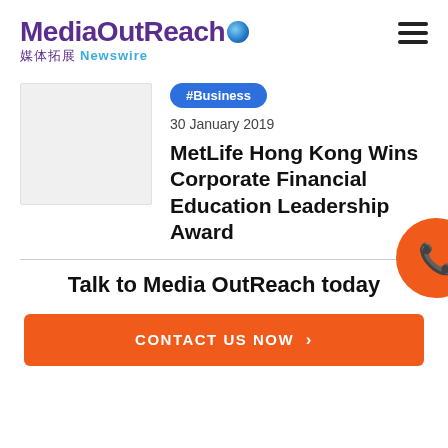MediaOutReach 媒体拓展 Newswire
#Business
30 January 2019
MetLife Hong Kong Wins Corporate Financial Education Leadership Award
Talk to Media OutReach today
CONTACT US NOW >